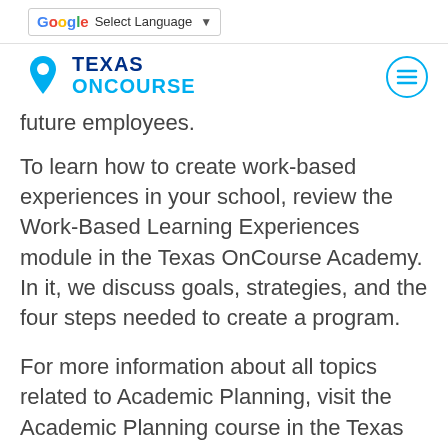Select Language
[Figure (logo): Texas OnCourse logo with location pin icon and menu hamburger icon on right]
future employees.
To learn how to create work-based experiences in your school, review the Work-Based Learning Experiences module in the Texas OnCourse Academy. In it, we discuss goals, strategies, and the four steps needed to create a program.
For more information about all topics related to Academic Planning, visit the Academic Planning course in the Texas OnCourse Academy.